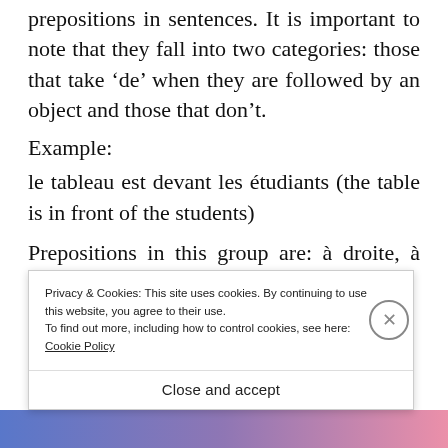prepositions in sentences. It is important to note that they fall into two categories: those that take ‘de’ when they are followed by an object and those that don’t.
Example:
le tableau est devant les étudiants (the table is in front of the students)
Prepositions in this group are: à droite, à gauche, derrière, devant, sur, sous, entre
D...
Privacy & Cookies: This site uses cookies. By continuing to use this website, you agree to their use. To find out more, including how to control cookies, see here: Cookie Policy
Close and accept